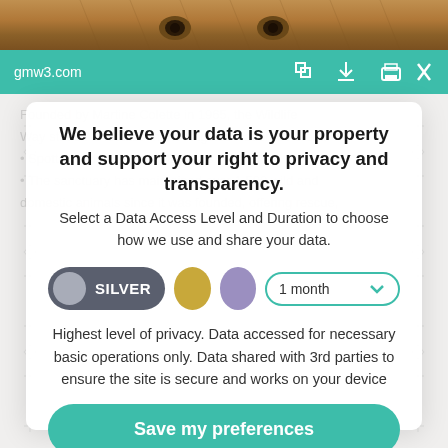[Figure (screenshot): Animal photo (lion/cheetah) at top of browser screenshot]
gmw3.com
We believe your data is your property and support your right to privacy and transparency.
Select a Data Access Level and Duration to choose how we use and share your data.
[Figure (infographic): Data access level selector row with SILVER toggle selected (dark gray), gold circle, purple circle, and '1 month' dropdown with teal border]
Highest level of privacy. Data accessed for necessary basic operations only. Data shared with 3rd parties to ensure the site is secure and works on your device
Save my preferences
Customize